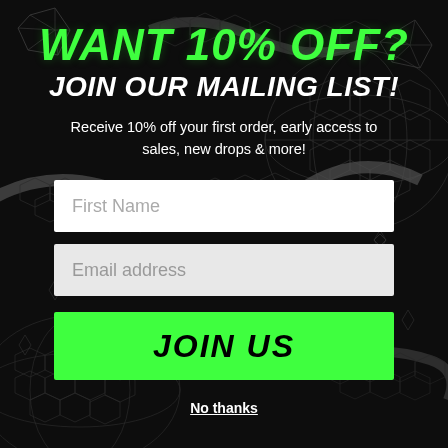[Figure (illustration): Dark black background with wireframe/mesh snake and geometric crystal shapes in dark gray/white lines]
WANT 10% OFF?
JOIN OUR MAILING LIST!
Receive 10% off your first order, early access to sales, new drops & more!
First Name
Email address
JOIN US
No thanks